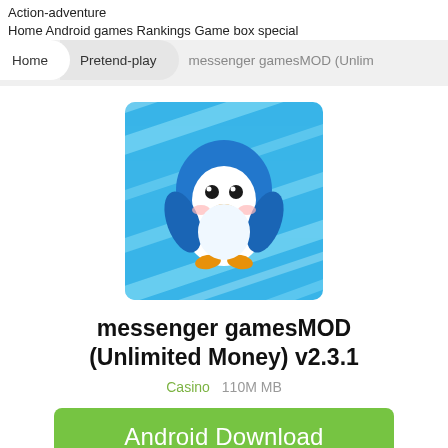Action-adventure
Home Android games Rankings Game box special
Home   Pretend-play   messenger gamesMOD (Unlimited
[Figure (illustration): Cartoon blue penguin character with orange beak and feet on a blue diagonal striped background, serving as the app icon for messenger gamesMOD]
messenger gamesMOD (Unlimited Money) v2.3.1
Casino   110M MB
Android Download